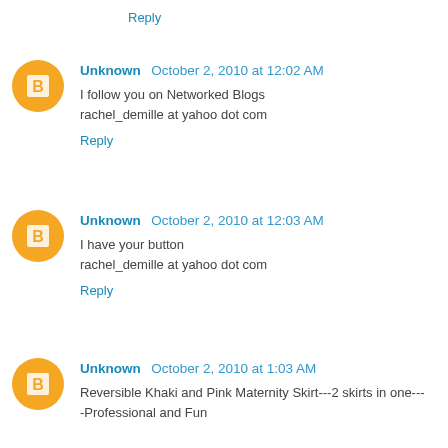Reply
Unknown  October 2, 2010 at 12:02 AM
I follow you on Networked Blogs
rachel_demille at yahoo dot com
Reply
Unknown  October 2, 2010 at 12:03 AM
I have your button
rachel_demille at yahoo dot com
Reply
Unknown  October 2, 2010 at 1:03 AM
Reversible Khaki and Pink Maternity Skirt---2 skirts in one---Professional and Fun
polsen11atcomcastdotnet